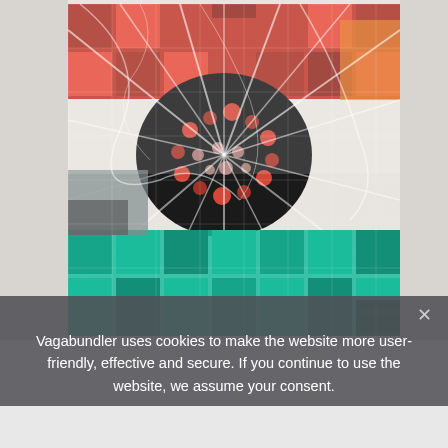[Figure (photo): Abstract digital artwork displayed on a wall: a large grid-tiled image featuring a radial burst pattern from the center with dark black and red spotted core, surrounded by red/orange mosaic tiles in upper half and teal/cyan flowing waves in the lower half, overlaid with a white crinkled plastic sheet.]
Vagabundler uses cookies to make the website more user-friendly, effective and secure. If you continue to use the website, we assume your consent.
O.K.  Nein